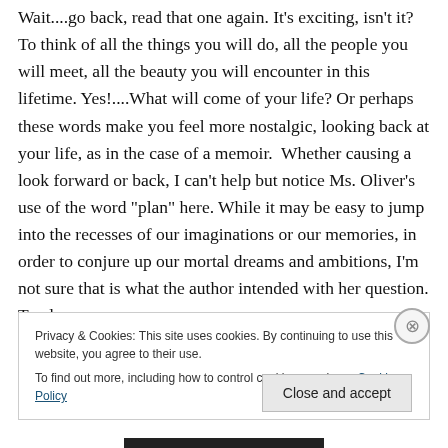Wait....go back, read that one again. It's exciting, isn't it? To think of all the things you will do, all the people you will meet, all the beauty you will encounter in this lifetime. Yes!....What will come of your life? Or perhaps these words make you feel more nostalgic, looking back at your life, as in the case of a memoir. Whether causing a look forward or back, I can't help but notice Ms. Oliver's use of the word "plan" here. While it may be easy to jump into the recesses of our imaginations or our memories, in order to conjure up our mortal dreams and ambitions, I'm not sure that is what the author intended with her question. To plan
Privacy & Cookies: This site uses cookies. By continuing to use this website, you agree to their use.
To find out more, including how to control cookies, see here: Cookie Policy
Close and accept